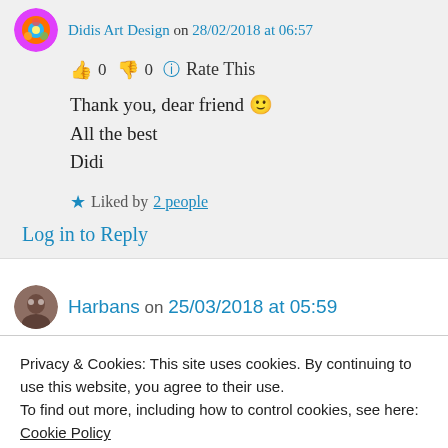Didis Art Design on 28/02/2018 at 06:57
👍 0 👎 0 ℹ Rate This
Thank you, dear friend 🙂
All the best
Didi
★ Liked by 2 people
Log in to Reply
Harbans on 25/03/2018 at 05:59
Privacy & Cookies: This site uses cookies. By continuing to use this website, you agree to their use.
To find out more, including how to control cookies, see here: Cookie Policy
Close and accept
cleanse our mind slate and seek for connectivity